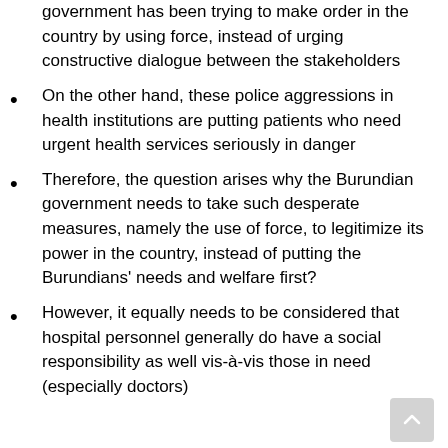government has been trying to make order in the country by using force, instead of urging constructive dialogue between the stakeholders
On the other hand, these police aggressions in health institutions are putting patients who need urgent health services seriously in danger
Therefore, the question arises why the Burundian government needs to take such desperate measures, namely the use of force, to legitimize its power in the country, instead of putting the Burundians' needs and welfare first?
However, it equally needs to be considered that hospital personnel generally do have a social responsibility as well vis-à-vis those in need (especially doctors)